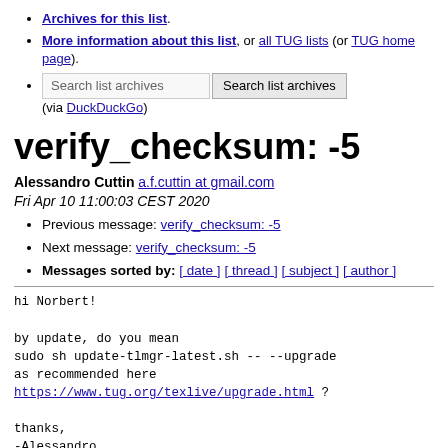Archives for this list.
More information about this list, or all TUG lists (or TUG home page).
Search list archives [input] Search list archives (via DuckDuckGo)
verify_checksum: -5
Alessandro Cuttin a.f.cuttin at gmail.com
Fri Apr 10 11:00:03 CEST 2020
Previous message: verify_checksum: -5
Next message: verify_checksum: -5
Messages sorted by: [ date ] [ thread ] [ subject ] [ author ]
hi Norbert!

by update, do you mean
sudo sh update-tlmgr-latest.sh -- --upgrade
as recommended here
https://www.tug.org/texlive/upgrade.html ?

thanks,
-Alessandro